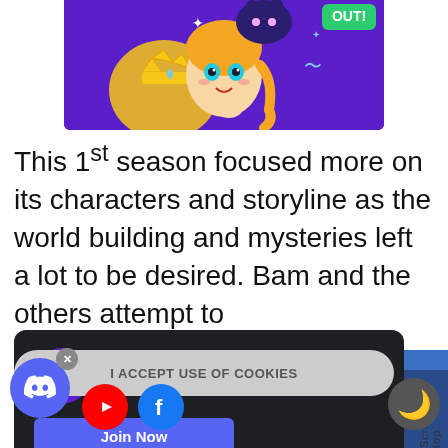[Figure (illustration): Anime chibi girl with blonde hair, crown, and purple background with a cat-like creature above]
This 1st season focused more on its characters and storyline as the world building and mysteries left a lot to be desired. Bam and the others attempt to climb the tower as [partially obscured] you can get
[Figure (screenshot): Discord server invite popup for AnimeWorld Official Server - The greatest Weebs Only Server! with a Join Now button]
[Figure (screenshot): Partial bottom-right anime characters image]
I ACCEPT USE OF COOKIES